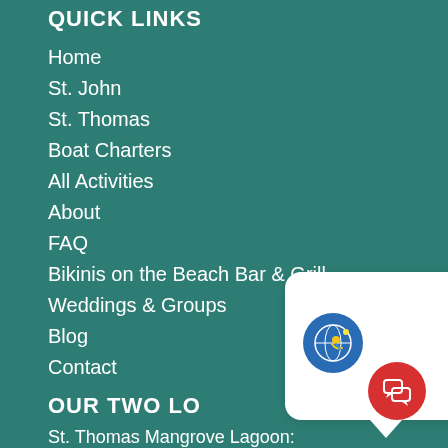QUICK LINKS
Home
St. John
St. Thomas
Boat Charters
All Activities
About
FAQ
Bikinis on the Beach Bar & Grill
Weddings & Groups
Blog
Contact
OUR TWO LO
St. Thomas Mangrove Lagoon:
Virgin Islands Ecotours & Bikinis Dockside Bar & Grill
[Figure (other): Chat popup with avatar icon — circular avatar with snorkeling/ecotour logo on blue background, white rounded rectangle speech bubble, and red circular chat button with speech-bubble icon]